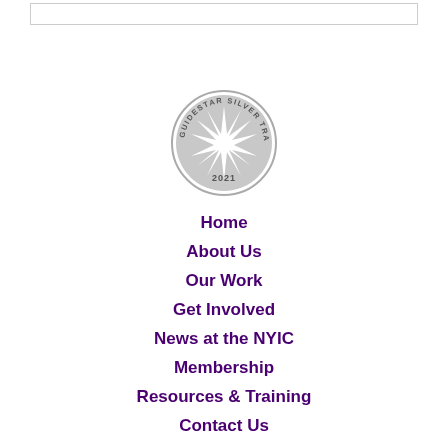[Figure (logo): GuideStar Silver Transparency 2021 circular badge/seal with a star burst in the center and text around the border]
Home
About Us
Our Work
Get Involved
News at the NYIC
Membership
Resources & Training
Contact Us